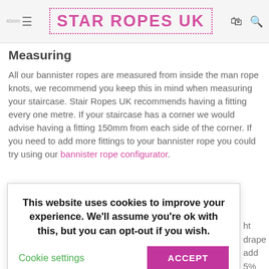STAR ROPES UK
Measuring
All our bannister ropes are measured from inside the man rope knots, we recommend you keep this in mind when measuring your staircase. Stair Ropes UK recommends having a fitting every one metre. If your staircase has a corner we would advise having a fitting 150mm from each side of the corner. If you need to add more fittings to your bannister rope you could try using our bannister rope configurator.
This website uses cookies to improve your experience. We'll assume you're ok with this, but you can opt-out if you wish. Cookie settings  ACCEPT
ht drape add 5% a deeper drape
Why Not Try Our Bannister Rope Configurator?